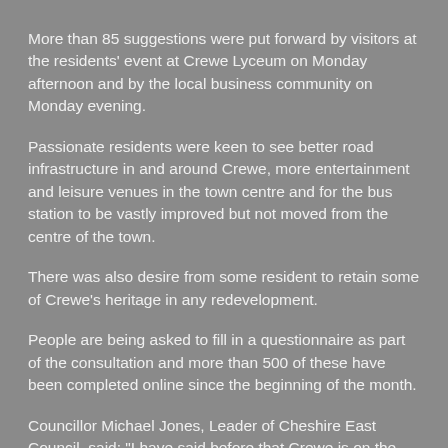More than 85 suggestions were put forward by visitors at the residents' event at Crewe Lyceum on Monday afternoon and by the local business community on Monday evening.
Passionate residents were keen to see better road infrastructure in and around Crewe, more entertainment and leisure venues in the town centre and for the bus station to be vastly improved but not moved from the centre of the town.
There was also desire from some resident to retain some of Crewe's heritage in any redevelopment.
People are being asked to fill in a questionnaire as part of the consultation and more than 500 of these have been completed online since the beginning of the month.
Councillor Michael Jones, Leader of Cheshire East Council, said: "I have said before that Crewe is on the cusp of its most significant transformation ever – but it is important that we get it right.